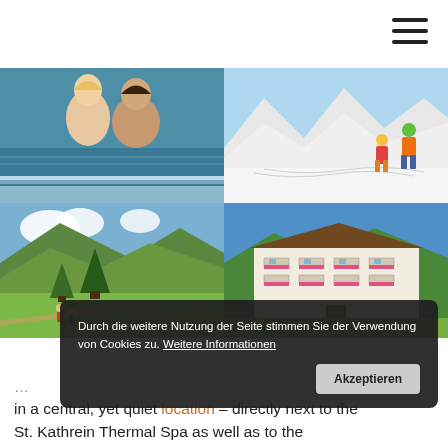[Figure (photo): Hamburger/navigation menu icon (three horizontal lines) in the top right corner]
[Figure (photo): 2x2 grid of four photos: top-left shows a couple in a spa/pool, top-right shows two skiers on a snowy slope, bottom-left shows hikers on an alpine trail with mountains and trees, bottom-right shows an Austrian-style hotel building with flower balconies and green lawn]
Durch die weitere Nutzung der Seite stimmen Sie der Verwendung von Cookies zu. Weitere Informationen    Akzeptieren
... in a central, yet quiet location – directly next to the St. Kathrein Thermal Spa as well as to the